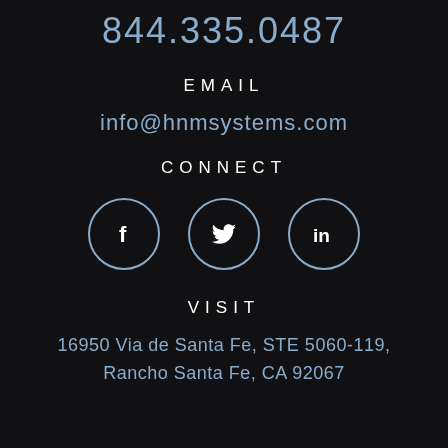844.335.0487
EMAIL
info@hnmsystems.com
CONNECT
[Figure (infographic): Three circular social media icons for Facebook, Twitter, and LinkedIn with blue-grey circular borders on dark background]
VISIT
16950 Via de Santa Fe, STE 5060-119, Rancho Santa Fe, CA 92067